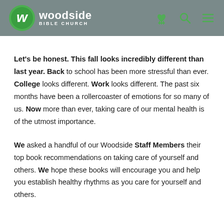Woodside Bible Church
Let's be honest. This fall looks incredibly different than last year. Back to school has been more stressful than ever. College looks different. Work looks different. The past six months have been a rollercoaster of emotions for so many of us. Now more than ever, taking care of our mental health is of the utmost importance.
We asked a handful of our Woodside Staff Members their top book recommendations on taking care of yourself and others. We hope these books will encourage you and help you establish healthy rhythms as you care for yourself and others.